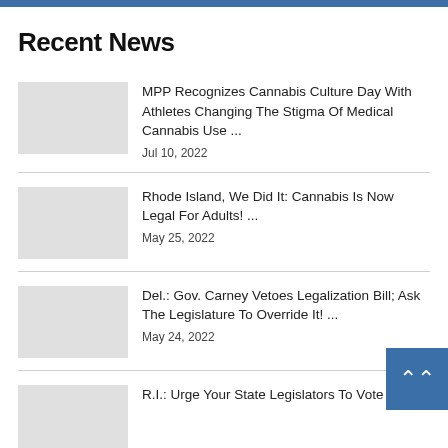Recent News
MPP Recognizes Cannabis Culture Day With Athletes Changing The Stigma Of Medical Cannabis Use ...
Jul 10, 2022
Rhode Island, We Did It: Cannabis Is Now Legal For Adults! ...
May 25, 2022
Del.: Gov. Carney Vetoes Legalization Bill; Ask The Legislature To Override It! ...
May 24, 2022
R.I.: Urge Your State Legislators To Vote YES ...